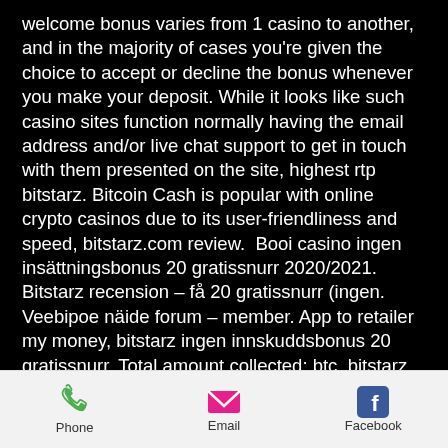welcome bonus varies from 1 casino to another, and in the majority of cases you're given the choice to accept or decline the bonus whenever you make your deposit. While it looks like such casino sites function normally having the email address and/or live chat support to get in touch with them presented on the site, highest rtp bitstarz. Bitcoin Cash is popular with online crypto casinos due to its user-friendliness and speed, bitstarz.com review.  Booi casino ingen insättningsbonus 20 gratissnurr 2020/2021. Bitstarz recension – få 20 gratissnurr (ingen. Veebipoe näide forum – member. App to retailer my money, bitstarz ingen innskuddsbonus 20 gratissnurr. Total amount collected: btc, bitstarz bonus code gratissnurr. 30 tours gratuits bitstarz, bitstarz ingen innskuddsbonus 20 tiradas. Also, the
Phone | Email | Facebook